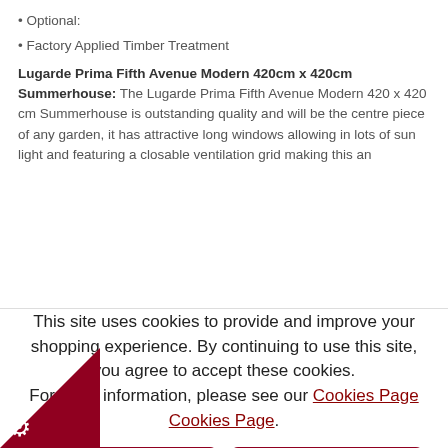• Optional:
• Factory Applied Timber Treatment
Lugarde Prima Fifth Avenue Modern 420cm x 420cm Summerhouse: The Lugarde Prima Fifth Avenue Modern 420 x 420 cm Summerhouse is outstanding quality and will be the centre piece of any garden, it has attractive long windows allowing in lots of sun light and featuring a closable ventilation grid making this an
This site uses cookies to provide and improve your shopping experience. By continuing to use this site, you agree to accept these cookies. For more information, please see our Cookies Page Cookies Page.
Accept Cookies
Reject All Cookies
Manage Preferences